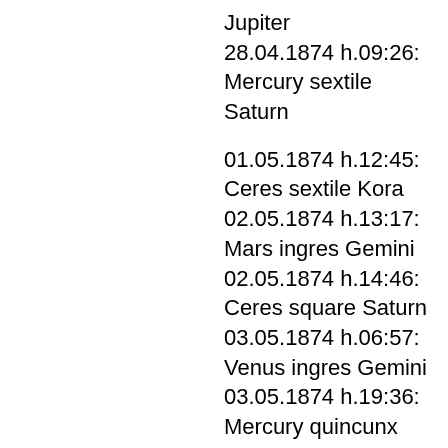Jupiter
28.04.1874 h.09:26: Mercury sextile Saturn
01.05.1874 h.12:45: Ceres sextile Kora
02.05.1874 h.13:17: Mars ingres Gemini
02.05.1874 h.14:46: Ceres square Saturn
03.05.1874 h.06:57: Venus ingres Gemini
03.05.1874 h.19:36: Mercury quincunx Jupiter
04.05.1874 h.04:11: Sun sextile Kora
04.05.1874 h.06:15: Venus conjunction Mars
04.05.1874 h.16:20: Sun square Saturn
06.05.1874 h.01:33: Sun conjunction Ceres
07.05.1874 h.19:10: Mercury conjunction Neptune
08.05.1874 h.09:09: Mercury ingres